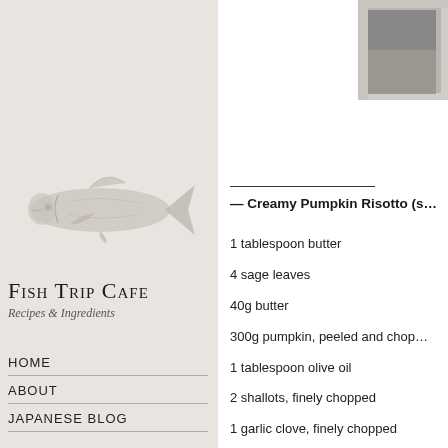[Figure (illustration): Illustration of a fish (salmon/trout) in grey tones on textured beige background]
Fish Trip Cafe
Recipes & Ingredients
HOME
ABOUT
JAPANESE BLOG
[Figure (photo): Partial photo visible in top-right corner, appears to show a framed image]
— Creamy Pumpkin Risotto (s…
1 tablespoon butter
4 sage leaves
40g butter
300g pumpkin, peeled and chop…
1 tablespoon olive oil
2 shallots, finely chopped
1 garlic clove, finely chopped